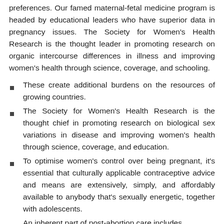preferences. Our famed maternal-fetal medicine program is headed by educational leaders who have superior data in pregnancy issues. The Society for Women's Health Research is the thought leader in promoting research on organic intercourse differences in illness and improving women's health through science, coverage, and schooling.
These create additional burdens on the resources of growing countries.
The Society for Women's Health Research is the thought chief in promoting research on biological sex variations in disease and improving women's health through science, coverage, and education.
To optimise women's control over being pregnant, it's essential that culturally applicable contraceptive advice and means are extensively, simply, and affordably available to anybody that's sexually energetic, together with adolescents.
An inherent part of post-abortion care includes